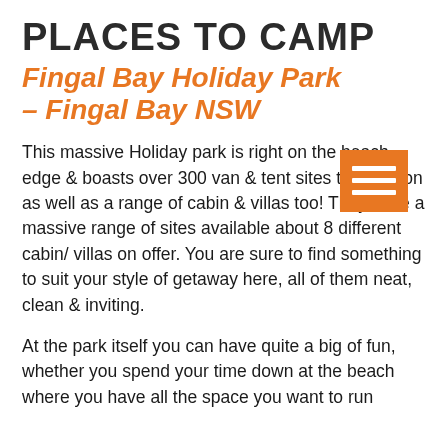PLACES TO CAMP
Fingal Bay Holiday Park – Fingal Bay NSW
This massive Holiday park is right on the beach edge & boasts over 300 van & tent sites to camp on as well as a range of cabin & villas too! They have a massive range of sites available about 8 different cabin/ villas on offer. You are sure to find something to suit your style of getaway here, all of them neat, clean & inviting.
At the park itself you can have quite a big of fun, whether you spend your time down at the beach where you have all the space you want to run